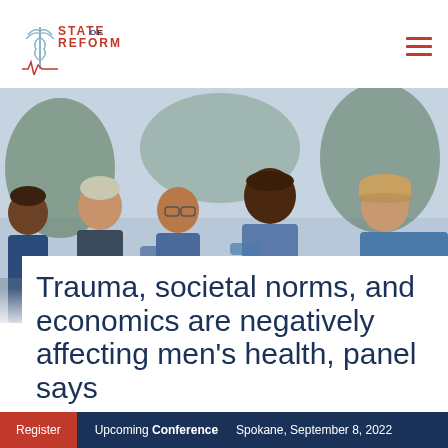STATE OF REFORM
[Figure (photo): Group of five men smiling and laughing together outdoors, wearing casual clothing, diverse ages and ethnicities]
Trauma, societal norms, and economics are negatively affecting men's health, panel says
Register | Upcoming Conference | Spokane, September 8, 2022